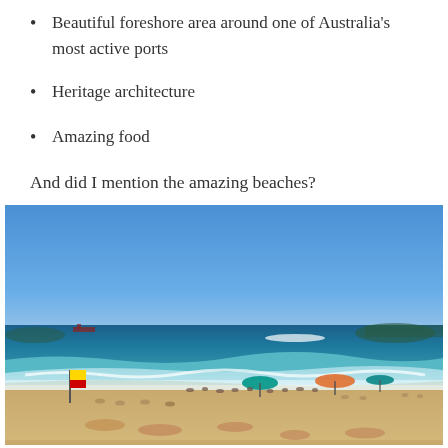Beautiful foreshore area around one of Australia's most active ports
Heritage architecture
Amazing food
And did I mention the amazing beaches?
[Figure (photo): A sunny Australian beach scene with blue sky, ocean waves, sandy shore, people relaxing on the beach, colorful umbrellas (green, teal, orange/red), a yellow and red surf lifesaving flag, and distant rocky headlands.]